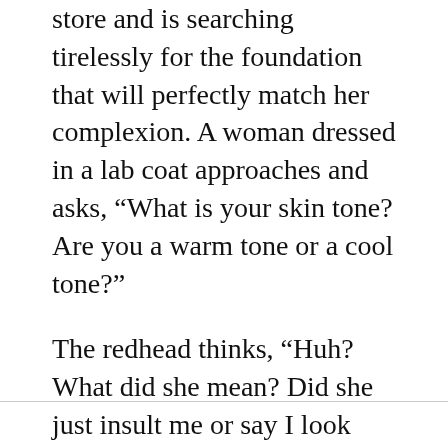store and is searching tirelessly for the foundation that will perfectly match her complexion. A woman dressed in a lab coat approaches and asks, “What is your skin tone? Are you a warm tone or a cool tone?”
The redhead thinks, “Huh? What did she mean? Did she just insult me or say I look ill?”